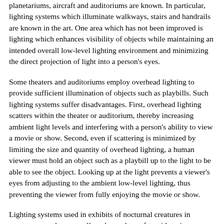planetariums, aircraft and auditoriums are known. In particular, lighting systems which illuminate walkways, stairs and handrails are known in the art. One area which has not been improved is lighting which enhances visibility of objects while maintaining an intended overall low-level lighting environment and minimizing the direct projection of light into a person's eyes.
Some theaters and auditoriums employ overhead lighting to provide sufficient illumination of objects such as playbills. Such lighting systems suffer disadvantages. First, overhead lighting scatters within the theater or auditorium, thereby increasing ambient light levels and interfering with a person's ability to view a movie or show. Second, even if scattering is minimized by limiting the size and quantity of overhead lighting, a human viewer must hold an object such as a playbill up to the light to be able to see the object. Looking up at the light prevents a viewer's eyes from adjusting to the ambient low-level lighting, thus preventing the viewer from fully enjoying the movie or show.
Lighting systems used in exhibits of nocturnal creatures in museums are also generally only used as safety aids to improve the visibility and illumination of walkways therein.
Instrument panels of aircraft flown at night are known to be equipped with post-lights that emit red light downwardly toward the instruments, and keep a person's eyes adjusted to the use of